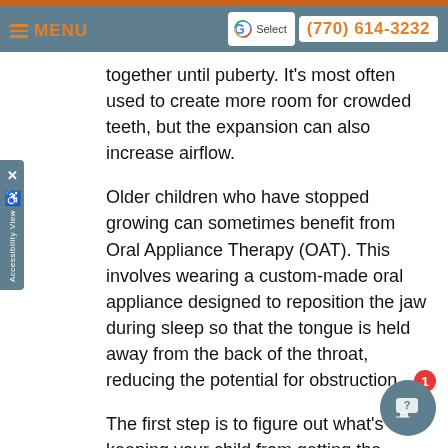MENU | Select Language | (770) 614-3232
together until puberty. It's most often used to create more room for crowded teeth, but the expansion can also increase airflow.
Older children who have stopped growing can sometimes benefit from Oral Appliance Therapy (OAT). This involves wearing a custom-made oral appliance designed to reposition the jaw during sleep so that the tongue is held away from the back of the throat, reducing the potential for obstruction.
The first step is to figure out what's keeping your child from getting the restful sleep that's so crucial to good health and well-being. For that to occur, and for your child to receive the best treatment, you will need to see a trained professional.